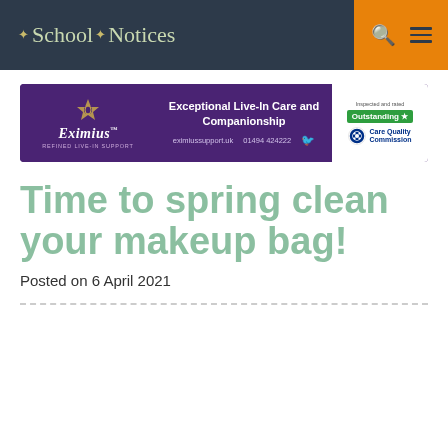School Notices
[Figure (illustration): Eximius Live-In Care advertisement banner with purple background. Shows Eximius logo on left, center text 'Exceptional Live-In Care and Companionship' with website eximiussupport.uk and phone 01494 424222, and CQC Outstanding rating badge on right.]
Time to spring clean your makeup bag!
Posted on 6 April 2021